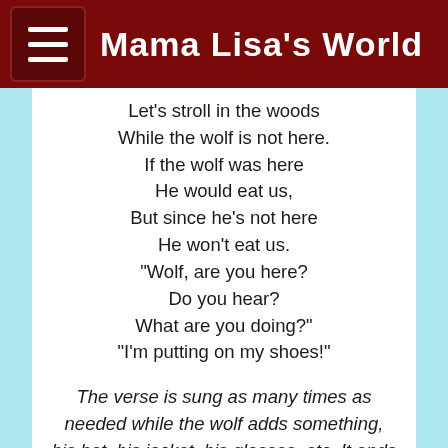Mama Lisa's World
Let's stroll in the woods
While the wolf is not here.
If the wolf was here
He would eat us,
But since he's not here
He won't eat us.
"Wolf, are you here?
Do you hear?
What are you doing?"
"I'm putting on my shoes!"
The verse is sung as many times as needed while the wolf adds something, his hat, his jacket, his glasses, etc. It ends with…